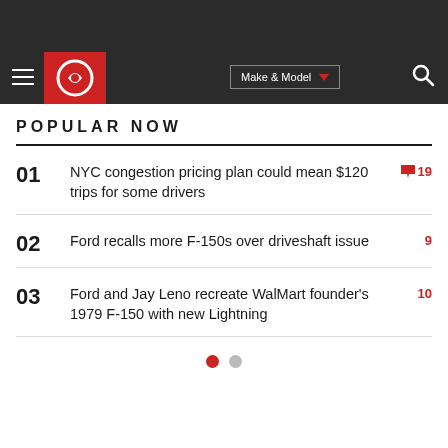Carfax — Make & Model navigation bar
POPULAR NOW
01 NYC congestion pricing plan could mean $120 trips for some drivers — 19 comments
02 Ford recalls more F-150s over driveshaft issue — 9 comments
03 Ford and Jay Leno recreate WalMart founder's 1979 F-150 with new Lightning — 10 comments